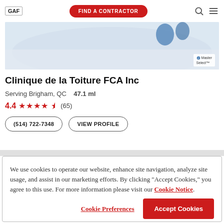GAF | FIND A CONTRACTOR
[Figure (photo): Contractor banner image with snow/roofing scene, Master Select™ badge bottom right]
Clinique de la Toiture FCA Inc
Serving Brigham, QC   47.1 ml
4.4 ★★★★½ (65)
(514) 722-7348   VIEW PROFILE
We use cookies to operate our website, enhance site navigation, analyze site usage, and assist in our marketing efforts. By clicking "Accept Cookies," you agree to this use. For more information please visit our Cookie Notice.
Cookie Preferences | Accept Cookies